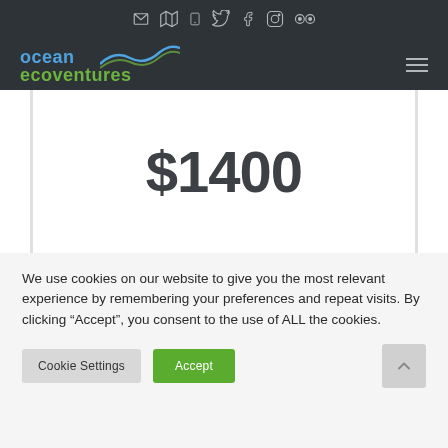Ocean Ecoventures website header with social icons and navigation
$1400
We use cookies on our website to give you the most relevant experience by remembering your preferences and repeat visits. By clicking “Accept”, you consent to the use of ALL the cookies.